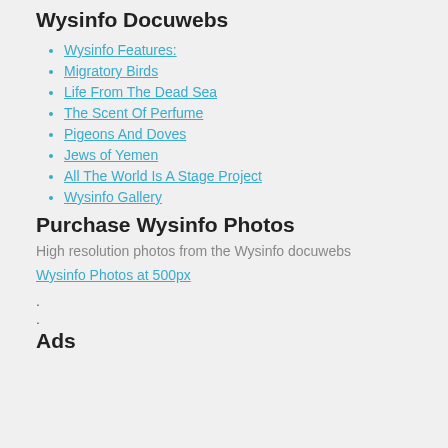Wysinfo Docuwebs
Wysinfo Features:
Migratory Birds
Life From The Dead Sea
The Scent Of Perfume
Pigeons And Doves
Jews of Yemen
All The World Is A Stage Project
Wysinfo Gallery
Purchase Wysinfo Photos
High resolution photos from the Wysinfo docuwebs
Wysinfo Photos at 500px
.
.
Ads